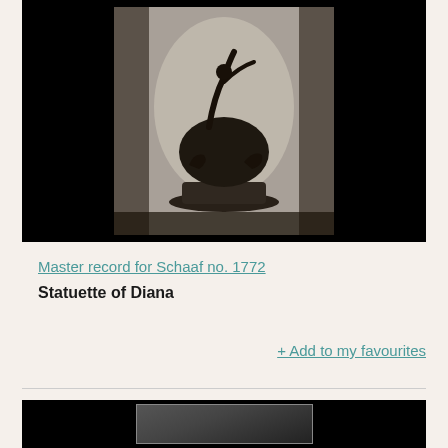[Figure (photo): Old photograph of a Statuette of Diana, dark image showing a sculpture of Diana with animals on a pedestal, surrounded by black border]
Master record for Schaaf no. 1772
Statuette of Diana
+ Add to my favourites
[Figure (photo): Partial view of another old photograph, dark image partially visible at the bottom of the page]